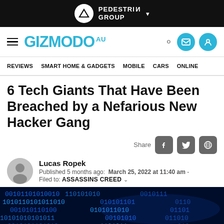PEDESTRIAN GROUP
GIZMODO AU — navigation: REVIEWS, SMART HOME & GADGETS, MOBILE, CARS, ONLINE
6 Tech Giants That Have Been Breached by a Nefarious New Hacker Gang
Share
Lucas Ropek
Published 5 months ago:  March 25, 2022 at 11:40 am  -
Filed to:  ASSASSINS CREED
[Figure (photo): Blue binary code / digital data background image]